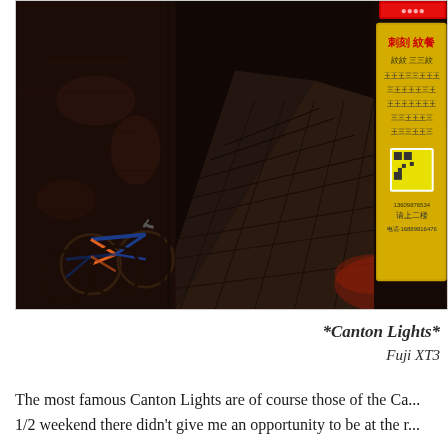[Figure (photo): Dark narrow alley at night in China (Canton/Guangzhou). Bicycles leaning against a weathered dark brick wall on the left. On the right, Chinese signs including a yellow sign board with Chinese characters, a red neon sign at the top, and stone pavement receding into the distance. Moody, dark atmosphere with red and yellow light accents.]
*Canton Lights*
Fuji XT3
The most famous Canton Lights are of course those of the Ca... 1/2 weekend there didn't give me an opportunity to be at the r...